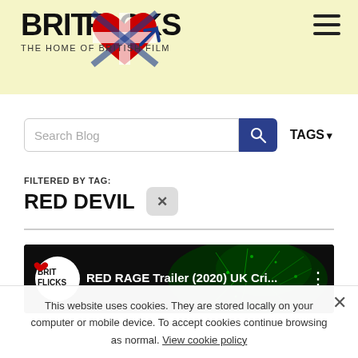[Figure (logo): BritFlicks logo — bold text 'BRITFLICKS' with Union Jack heart graphic, subtitle 'THE HOME OF BRITISH FILM']
[Figure (other): Hamburger menu icon (three horizontal lines) in top right]
Search Blog
TAGS ▾
FILTERED BY TAG:
RED DEVIL
[Figure (screenshot): YouTube-style video thumbnail showing 'RED RAGE Trailer (2020) UK Cri...' with BritFlicks channel logo on dark green sparkle background]
This website uses cookies. They are stored locally on your computer or mobile device. To accept cookies continue browsing as normal. View cookie policy